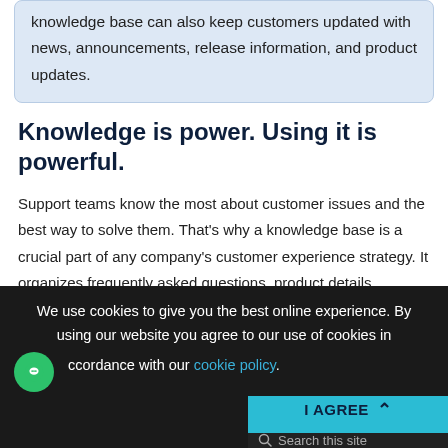open a ticket or call support directly. Do you know? A knowledge base can also keep customers updated with news, announcements, release information, and product updates.
Knowledge is power. Using it is powerful.
Support teams know the most about customer issues and the best way to solve them. That's why a knowledge base is a crucial part of any company's customer experience strategy. It organizes frequently asked questions, product details, policies, and more, and empowers customers and agents with that
We use cookies to give you the best online experience. By using our website you agree to our use of cookies in accordance with our cookie policy.